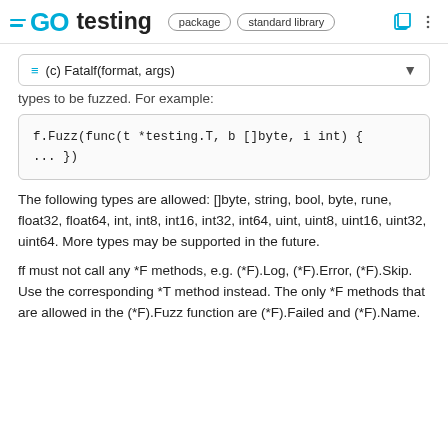GO testing  package  standard library
(c) Fatalf(format, args)
types to be fuzzed. For example:
f.Fuzz(func(t *testing.T, b []byte, i int) {
... })
The following types are allowed: []byte, string, bool, byte, rune, float32, float64, int, int8, int16, int32, int64, uint, uint8, uint16, uint32, uint64. More types may be supported in the future.
ff must not call any *F methods, e.g. (*F).Log, (*F).Error, (*F).Skip. Use the corresponding *T method instead. The only *F methods that are allowed in the (*F).Fuzz function are (*F).Failed and (*F).Name.